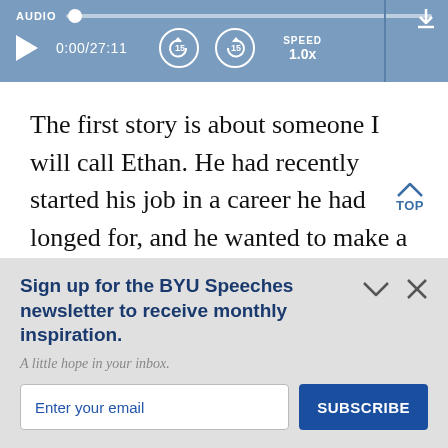[Figure (screenshot): Audio player UI with progress bar, play button, time display 0:00/27:11, rewind 15s, forward 15s buttons, speed 1.0x, and download icon on blue background]
The first story is about someone I will call Ethan. He had recently started his job in a career he had longed for, and he wanted to make a good impression. He came early t
Sign up for the BYU Speeches newsletter to receive monthly inspiration.
A little hope in your inbox.
Enter your email
SUBSCRIBE